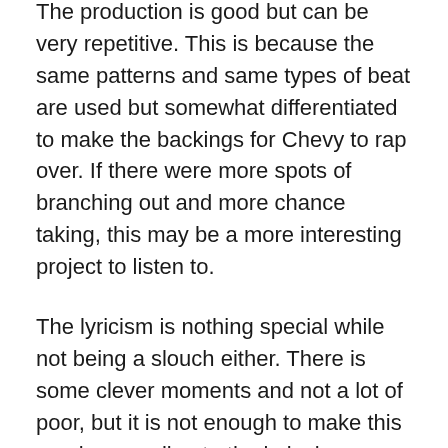The production is good but can be very repetitive. This is because the same patterns and same types of beat are used but somewhat differentiated to make the backings for Chevy to rap over. If there were more spots of branching out and more chance taking, this may be a more interesting project to listen to.
The lyricism is nothing special while not being a slouch either. There is some clever moments and not a lot of poor, but it is not enough to make this overly appealing to the lyrical audience. While it can be enjoyed, with some more time spent enhancing them and crafting them to a higher level, Chevy could be appealing to a wider audience than the hardcore Taylor Gang guys.
The features all put in verses on the same level as Chevy, but are all too similar to Chevy's own style to make much of an impact. When listening to the tracks, they can be